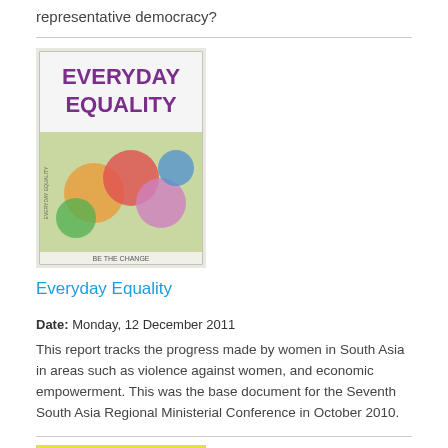representative democracy?
[Figure (illustration): Book cover of 'Everyday Equality' with colorful fruit imagery and text 'BE THE CHANGE']
Everyday Equality
Date: Monday, 12 December 2011
This report tracks the progress made by women in South Asia in areas such as violence against women, and economic empowerment. This was the base document for the Seventh South Asia Regional Ministerial Conference in October 2010.
[Figure (photo): Book cover showing a black and white photo of a woman's profile with yellow text header]